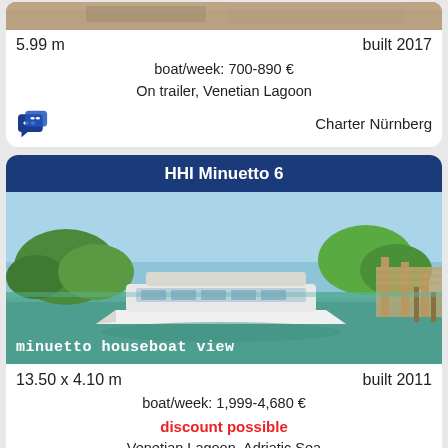[Figure (photo): Partial boat photo at top of page (cropped)]
5.99 m	built 2017
boat/week: 700-890 €
On trailer, Venetian Lagoon
Charter Nürnberg
[Figure (photo): HHI Minuetto 6 houseboat on calm water with trees and dock in background, labeled 'minuetto houseboat view']
13.50 x 4.10 m	built 2011
boat/week: 1,999-4,680 €
discount possible
Venetian Lagoon, Adriatic Sea